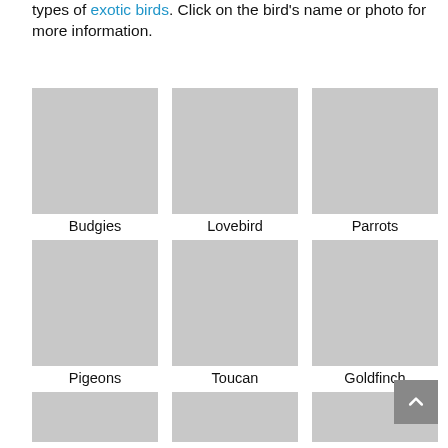types of exotic birds. Click on the bird's name or photo for more information.
[Figure (photo): Gray placeholder image for Budgies]
Budgies
[Figure (photo): Gray placeholder image for Lovebird]
Lovebird
[Figure (photo): Gray placeholder image for Parrots]
Parrots
[Figure (photo): Gray placeholder image for Pigeons]
Pigeons
[Figure (photo): Gray placeholder image for Toucan]
Toucan
[Figure (photo): Gray placeholder image for Goldfinch]
Goldfinch
[Figure (photo): Gray placeholder image (partial, bottom row left)]
[Figure (photo): Gray placeholder image (partial, bottom row center)]
[Figure (photo): Gray placeholder image (partial, bottom row right)]